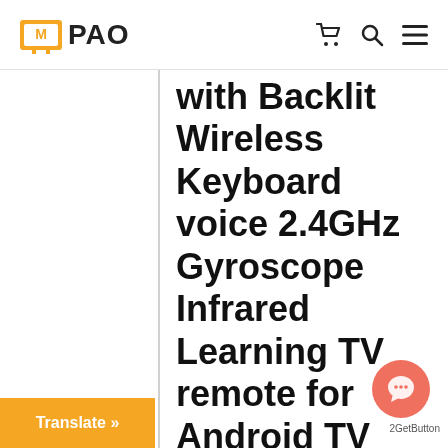TV PAO
with Backlit Wireless Keyboard voice 2.4GHz Gyroscope Infrared Learning TV remote for Android TV Boxes, PC, etc.
MX3 Air Mouse Specification
Translate »
2GetButton